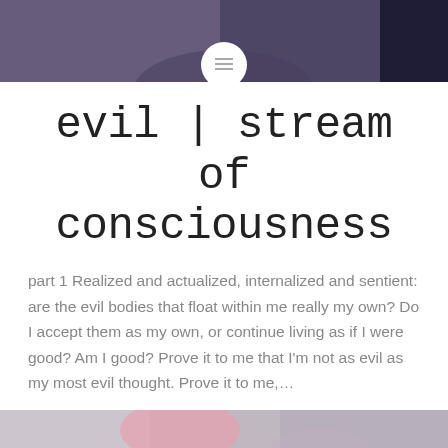[Figure (photo): Purple-toned header image with a person, partially visible, white circle icon with hamburger menu lines overlaid in center-bottom of image]
evil | stream of consciousness
part 1 Realized and actualized, internalized and sentient: are the evil bodies that float within me really my own? Do I accept them as my own, or continue living as if I were good? Am I good? Prove it to me that I'm not as evil as my most evil thought. Prove it to me,…
READ MORE
[Figure (photo): Bottom strip showing a partial image of a person, colorful clothing visible]